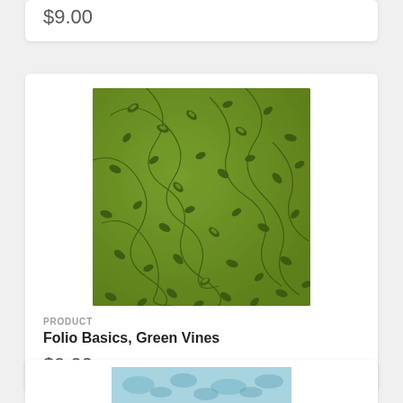$9.00
[Figure (photo): Green fabric with vine and leaf pattern - Folio Basics, Green Vines product image]
PRODUCT
Folio Basics, Green Vines
$9.00
[Figure (photo): Partial view of another fabric product at the bottom of the page, blue/teal color]